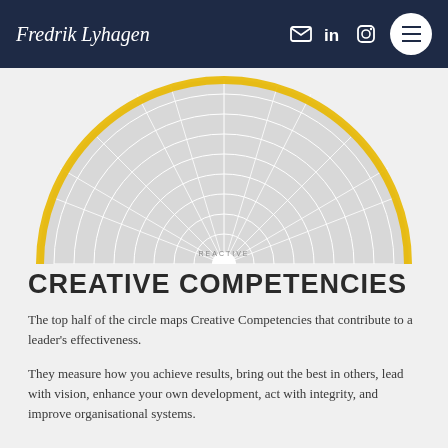Fredrik Lyhagen — navigation header with email, LinkedIn, Instagram icons and menu button
[Figure (radar-chart): Top half of a circular radar/spider chart showing Creative Competencies mapped on a semicircle. The chart has concentric rings and radial lines forming a grid, with a yellow/gold arc along the top edge. The word REACTIVE appears at the bottom center. The chart is rendered in light grey tones on a light background.]
CREATIVE COMPETENCIES
The top half of the circle maps Creative Competencies that contribute to a leader's effectiveness.
They measure how you achieve results, bring out the best in others, lead with vision, enhance your own development, act with integrity, and improve organisational systems.